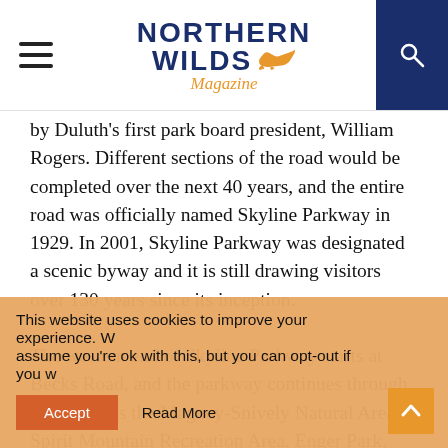Northern Wilds Magazine
by Duluth's first park board president, William Rogers. Different sections of the road would be completed over the next 40 years, and the entire road was officially named Skyline Parkway in 1929. In 2001, Skyline Parkway was designated a scenic byway and it is still drawing visitors over 130 years since its inception.

The western end of Skyline Parkway starts at Becks Road, and the parkway continues through sites such as the Magney-Snively Natural Area, Spirit Mountain Recreation Area, Enger Park, and the
This website uses cookies to improve your experience. We assume you're ok with this, but you can opt-out if you wish. Accept  Read More